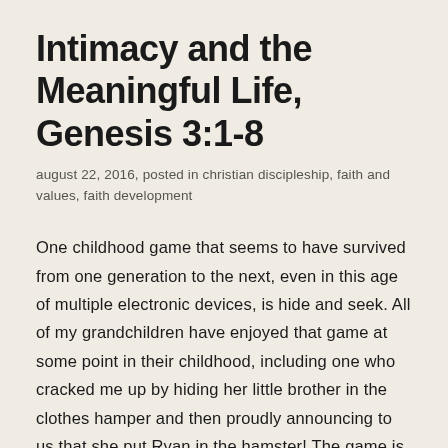Intimacy and the Meaningful Life, Genesis 3:1-8
august 22, 2016, posted in christian discipleship, faith and values, faith development
One childhood game that seems to have survived from one generation to the next, even in this age of multiple electronic devices, is hide and seek. All of my grandchildren have enjoyed that game at some point in their childhood, including one who cracked me up by hiding her little brother in the clothes hamper and then proudly announcing to us that she put Ryan in the hamster! The game is fun – but only up to a point. The late great preacher Fred Craddock told a story about a great hiding place he found at his grandparents' farm. He hid under the front porch of the old farm house and